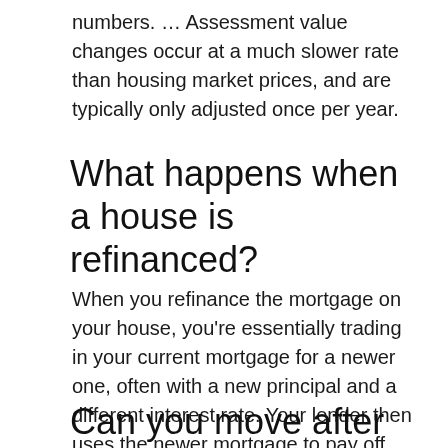numbers. … Assessment value changes occur at a much slower rate than housing market prices, and are typically only adjusted once per year.
What happens when a house is refinanced?
When you refinance the mortgage on your house, you're essentially trading in your current mortgage for a newer one, often with a new principal and a different interest rate. Your lender then uses the newer mortgage to pay off the old one, so you're left with just one loan and one monthly payment.
Can you move after